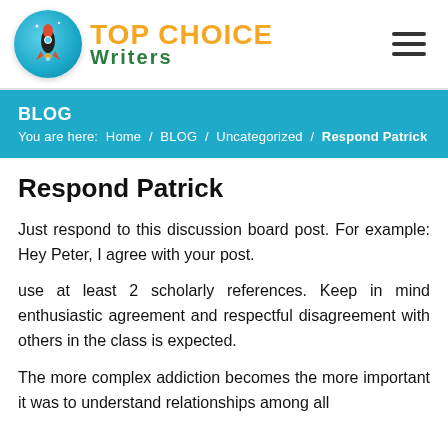[Figure (logo): Top Choice Writers logo with rocket icon in teal circle and text 'TOP CHOICE Writers']
BLOG
You are here: Home / BLOG / Uncategorized / Respond Patrick
Respond Patrick
Just respond to this discussion board post. For example: Hey Peter, I agree with your post.
use at least 2 scholarly references. Keep in mind enthusiastic agreement and respectful disagreement with others in the class is expected.
The more complex addiction becomes the more important it was to understand relationships among all